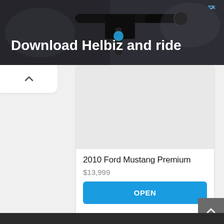[Figure (screenshot): Advertisement banner for Helbiz app showing bicycle handlebars with text 'Download Helbiz and ride' on dark background]
2010 Ford Mustang Premium
$13,999
OPEN